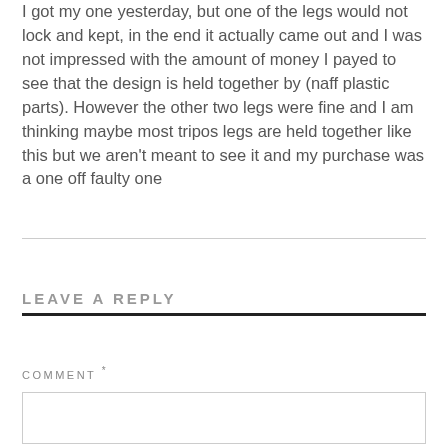I got my one yesterday, but one of the legs would not lock and kept, in the end it actually came out and I was not impressed with the amount of money I payed to see that the design is held together by (naff plastic parts). However the other two legs were fine and I am thinking maybe most tripos legs are held together like this but we aren't meant to see it and my purchase was a one off faulty one
LEAVE A REPLY
COMMENT *